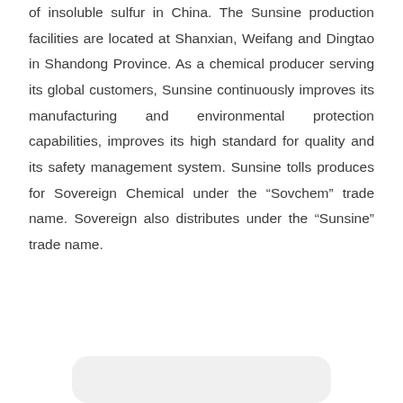of insoluble sulfur in China. The Sunsine production facilities are located at Shanxian, Weifang and Dingtao in Shandong Province. As a chemical producer serving its global customers, Sunsine continuously improves its manufacturing and environmental protection capabilities, improves its high standard for quality and its safety management system. Sunsine tolls produces for Sovereign Chemical under the “Sovchem” trade name. Sovereign also distributes under the “Sunsine” trade name.